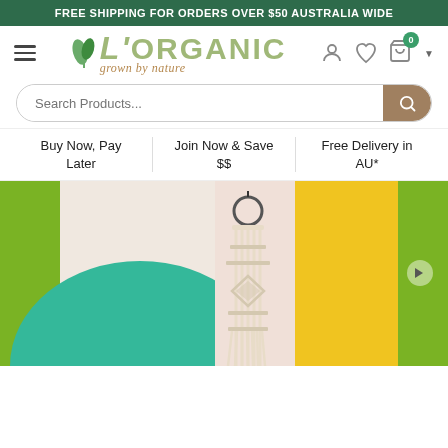FREE SHIPPING FOR ORDERS OVER $50 AUSTRALIA WIDE
[Figure (logo): L'ORGANIC grown by nature logo with green leaf icon]
Search Products...
Buy Now, Pay Later
Join Now & Save $$
Free Delivery in AU*
[Figure (photo): Hero banner showing a macramé wall hanging with teal yoga mat and yellow panels in background]